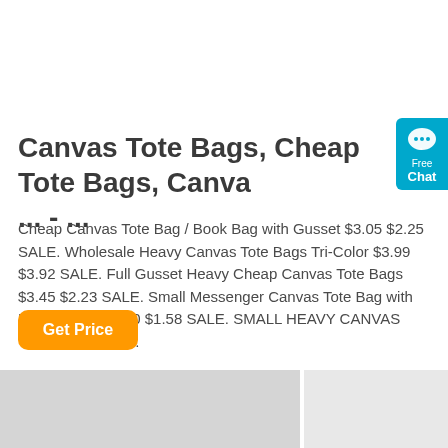Canvas Tote Bags, Cheap Tote Bags, Canva ... - ...
Cheap Canvas Tote Bag / Book Bag with Gusset $3.05 $2.25 SALE. Wholesale Heavy Canvas Tote Bags Tri-Color $3.99 $3.92 SALE. Full Gusset Heavy Cheap Canvas Tote Bags $3.45 $2.23 SALE. Small Messenger Canvas Tote Bag with Long Straps $2.20 $1.58 SALE. SMALL HEAVY CANVAS TOTE BAG $6.54.
[Figure (other): Orange 'Get Price' button]
[Figure (other): Cyan/blue live chat widget showing chat bubble icon with text 'Free Chat']
[Figure (photo): Bottom portion showing gray product images of canvas tote bags]